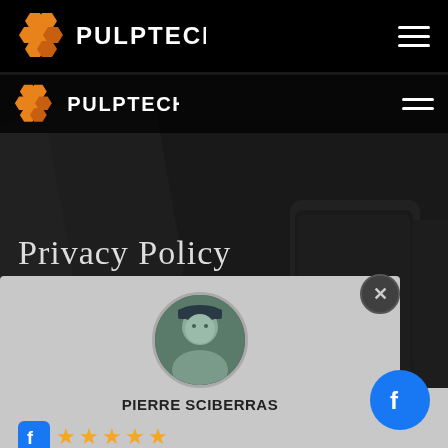[Figure (screenshot): PulpTech website screenshot showing dark hero background with phone devices, double navigation bar with PULPTECH logo and hamburger menu, Privacy Policy title text, and a Facebook review popup from Pierre Sciberras with 5 stars and quote about iPhone 11 Pro sea water repair. A Facebook floating button appears bottom right.]
Privacy Policy
PIERRE SCIBERRAS
After my iPhone 11 Pro went in the sea water for about 10 minutes they managed ...